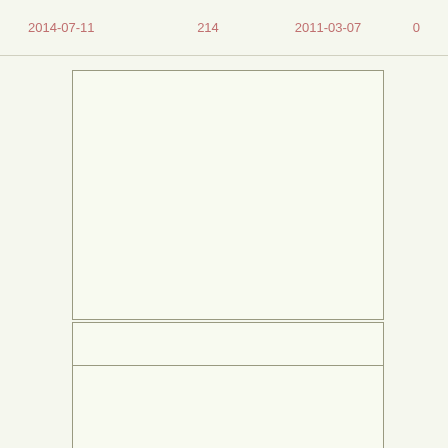|  |  |  |  |
| --- | --- | --- | --- |
| 2014-07-11 | 214 | 2011-03-07 | 0 |
[Figure (other): Empty chart area - upper panel, light cream/green background with thin border]
[Figure (other): Empty chart area - lower panel, light cream/green background with thin border, subdivided horizontally]